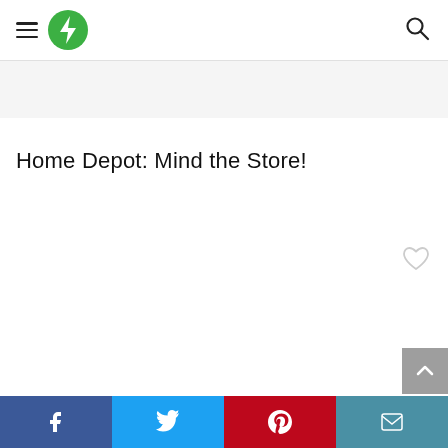Navigation bar with hamburger menu, green lightning bolt logo, and search icon
Home Depot: Mind the Store!
[Figure (other): Heart/favorite icon (outline)]
[Figure (other): Scroll-to-top button with upward chevron arrow]
Social share bar: Facebook, Twitter, Pinterest, Email